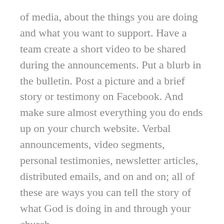of media, about the things you are doing and what you want to support. Have a team create a short video to be shared during the announcements. Put a blurb in the bulletin. Post a picture and a brief story or testimony on Facebook. And make sure almost everything you do ends up on your church website. Verbal announcements, video segments, personal testimonies, newsletter articles, distributed emails, and on and on; all of these are ways you can tell the story of what God is doing in and through your church.
The more positive things you share and talk about, the more “informed” your congregation will be, and the more likely they will be to